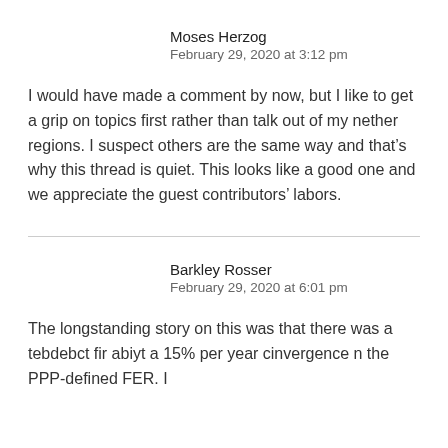Moses Herzog
February 29, 2020 at 3:12 pm
I would have made a comment by now, but I like to get a grip on topics first rather than talk out of my nether regions. I suspect others are the same way and that’s why this thread is quiet. This looks like a good one and we appreciate the guest contributors’ labors.
Barkley Rosser
February 29, 2020 at 6:01 pm
The longstanding story on this was that there was a tebdebct fir abiyt a 15% per year cinvergence n the PPP-defined FER. I